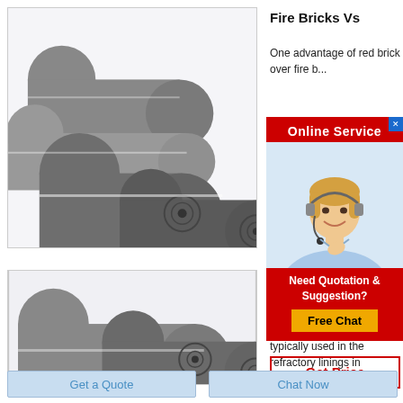[Figure (photo): Photo of large dark gray industrial rollers/graphite electrode rods stacked together]
Fire Bricks Vs
One advantage of red brick over fire b...
[Figure (infographic): Online Service popup overlay with female customer service agent wearing headset, red background banner reading 'Online Service', and 'Need Quotation & Suggestion? Free Chat' button]
[Figure (photo): Photo of large dark gray industrial rollers/graphite electrode rods stacked together (second instance, cropped)]
Insu...
Ref...
Refractory fire brick is typically used in the refractory linings in
Get Price
Get a Quote
Chat Now